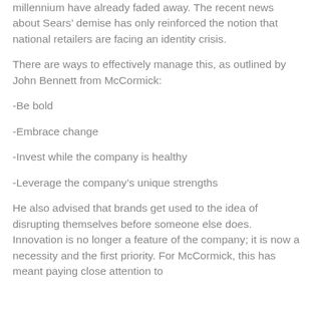millennium have already faded away. The recent news about Sears' demise has only reinforced the notion that national retailers are facing an identity crisis.
There are ways to effectively manage this, as outlined by John Bennett from McCormick:
-Be bold
-Embrace change
-Invest while the company is healthy
-Leverage the company's unique strengths
He also advised that brands get used to the idea of disrupting themselves before someone else does. Innovation is no longer a feature of the company; it is now a necessity and the first priority. For McCormick, this has meant paying close attention to